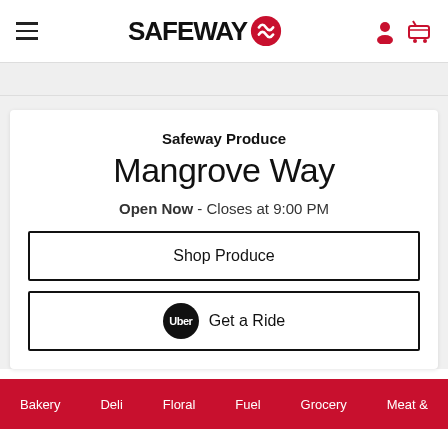SAFEWAY
Safeway Produce
Mangrove Way
Open Now - Closes at 9:00 PM
Shop Produce
Uber Get a Ride
Bakery  Deli  Floral  Fuel  Grocery  Meat &